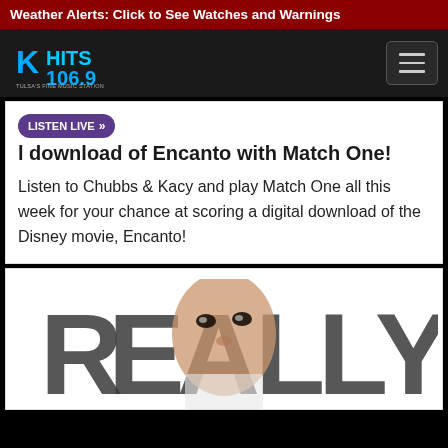Weather Alerts: Click to See Watches and Warnings
[Figure (logo): K-HITS 106.9 radio station logo — blue and cyan text on dark background, tagline: Tulsa's Fine Music Station]
l download of Encanto with Match One!
Listen to Chubbs & Kacy and play Match One all this week for your chance at scoring a digital download of the Disney movie, Encanto!
[Figure (photo): Promotional image showing the text REALLY in large block letters with a person's face visible through the letters]